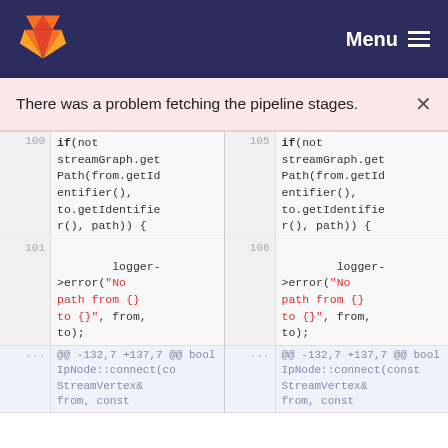Menu
There was a problem fetching the pipeline stages.
[Figure (screenshot): Code diff view showing two panes with line numbers 100-101 and 105-106, displaying C++ code with if(not streamGraph.getPath(from.getIdentifier(), to.getIdentifier(), path)) { logger->error("No path from {} to {}", from, to); and a hunk header @@ -132,7 +137,7 @@ bool IpNode::connect(const StreamVertex& from, const StreamVertex& from, const]